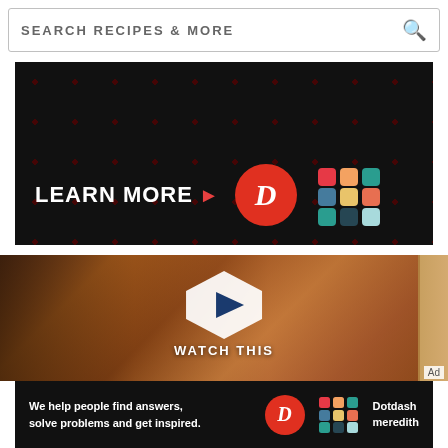[Figure (screenshot): Search bar with text SEARCH RECIPES & MORE and a magnifying glass icon on the right]
[Figure (screenshot): Dark advertisement banner with LEARN MORE text button, a red circular D logo, and a colorful geometric/knot pattern logo]
[Figure (photo): Video thumbnail showing sliced grilled steak on a wooden cutting board with a fork and knife, overlaid with a white hexagonal play button and text WATCH THIS]
[Figure (screenshot): Dotdash Meredith bottom advertisement bar with text: We help people find answers, solve problems and get inspired. With D logo and colorful knot logo and Dotdash meredith text]